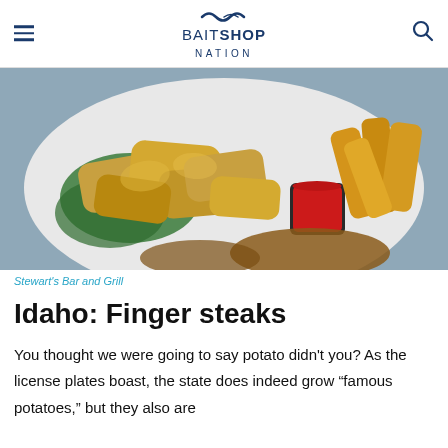BAITSHOP NATION
[Figure (photo): A plate of fried finger steaks with ketchup dipping sauce, chips/fries, garnished with kale, on a white plate]
Stewart's Bar and Grill
Idaho: Finger steaks
You thought we were going to say potato didn't you? As the license plates boast, the state does indeed grow “famous potatoes,” but they also are